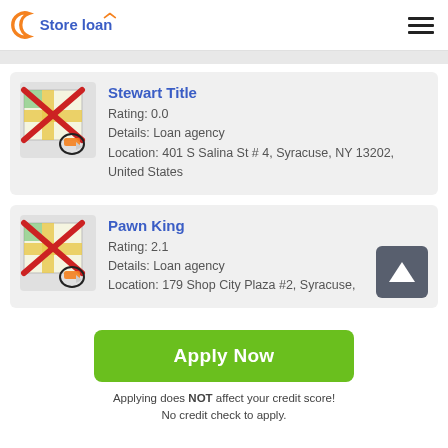[Figure (logo): Store loan logo with orange circle C and blue text]
[Figure (illustration): Map icon with red X overlay for Stewart Title listing]
Stewart Title
Rating: 0.0
Details: Loan agency
Location: 401 S Salina St # 4, Syracuse, NY 13202, United States
[Figure (illustration): Map icon with red X overlay for Pawn King listing]
Pawn King
Rating: 2.1
Details: Loan agency
Location: 179 Shop City Plaza #2, Syracuse,
[Figure (other): Scroll up button with white arrow]
Apply Now
Applying does NOT affect your credit score!
No credit check to apply.